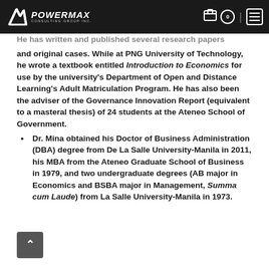POWERMAX CONSULTING GROUP INC.
He has written and published several research papers and original cases. While at PNG University of Technology, he wrote a textbook entitled Introduction to Economics for use by the university's Department of Open and Distance Learning's Adult Matriculation Program. He has also been the adviser of the Governance Innovation Report (equivalent to a masteral thesis) of 24 students at the Ateneo School of Government.
Dr. Mina obtained his Doctor of Business Administration (DBA) degree from De La Salle University-Manila in 2011, his MBA from the Ateneo Graduate School of Business in 1979, and two undergraduate degrees (AB major in Economics and BSBA major in Management, Summa cum Laude) from La Salle University-Manila in 1973.